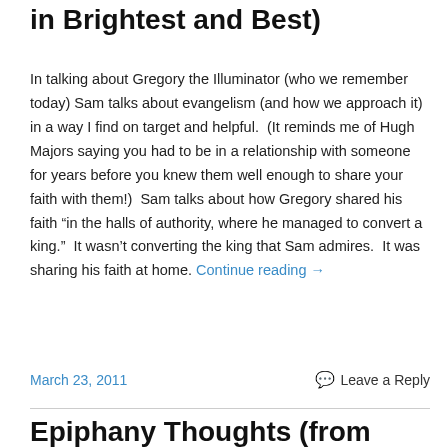in Brightest and Best)
In talking about Gregory the Illuminator (who we remember today) Sam talks about evangelism (and how we approach it) in a way I find on target and helpful.  (It reminds me of Hugh Majors saying you had to be in a relationship with someone for years before you knew them well enough to share your faith with them!)  Sam talks about how Gregory shared his faith “in the halls of authority, where he managed to convert a king.”  It wasn’t converting the king that Sam admires.  It was sharing his faith at home. Continue reading →
March 23, 2011
Leave a Reply
Epiphany Thoughts (from Sam